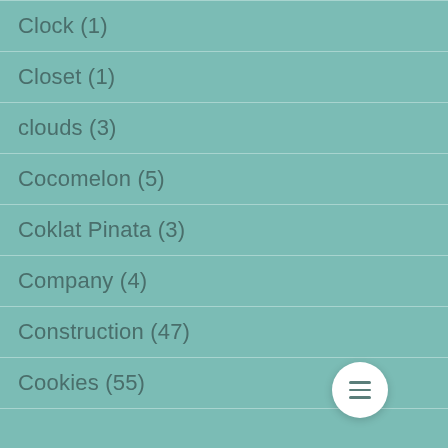Clock (1)
Closet (1)
clouds (3)
Cocomelon (5)
Coklat Pinata (3)
Company (4)
Construction (47)
Cookies (55)